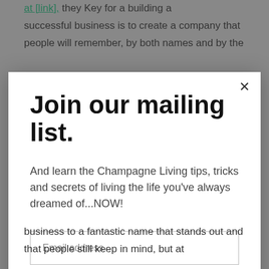at [link], they Key for a building a successful business is to create a company that people will remember, by both names and by the
Join our mailing list.
And learn the Champagne Living tips, tricks and secrets of living the life you've always dreamed of...NOW!
Email address
Subscribe
business to a fantastic name that stands out and that people still keep in mind, but at